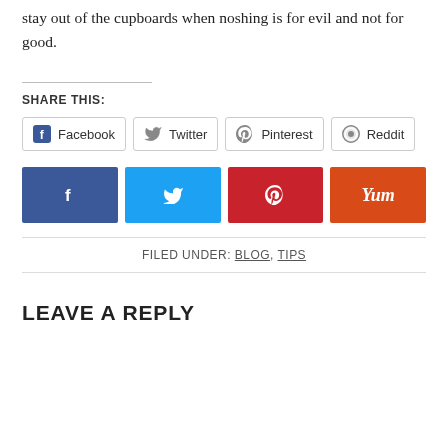stay out of the cupboards when noshing is for evil and not for good.
SHARE THIS:
Facebook  Twitter  Pinterest  Reddit
[Figure (infographic): Four colored social share buttons: Facebook (dark blue, f icon), Twitter (light blue, bird icon), Pinterest (red, p icon), Yummly (orange, Yum text)]
FILED UNDER: BLOG, TIPS
LEAVE A REPLY